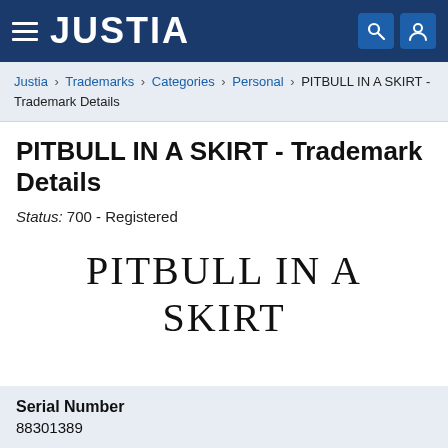JUSTIA
Justia › Trademarks › Categories › Personal › PITBULL IN A SKIRT - Trademark Details
PITBULL IN A SKIRT - Trademark Details
Status: 700 - Registered
[Figure (other): Trademark image displaying text: PITBULL IN A SKIRT in large serif font]
Serial Number
88301389